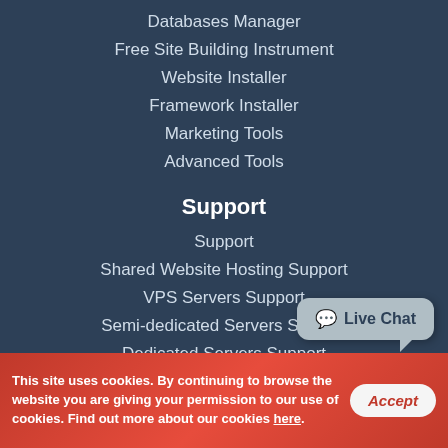Databases Manager
Free Site Building Instrument
Website Installer
Framework Installer
Marketing Tools
Advanced Tools
Support
Support
Shared Website Hosting Support
VPS Servers Support
Semi-dedicated Servers Support
Dedicated Servers Support
Dedicated Managed Servers
VPS Managed Servers
Definitions
This site uses cookies. By continuing to browse the website you are giving your permission to our use of cookies. Find out more about our cookies here.